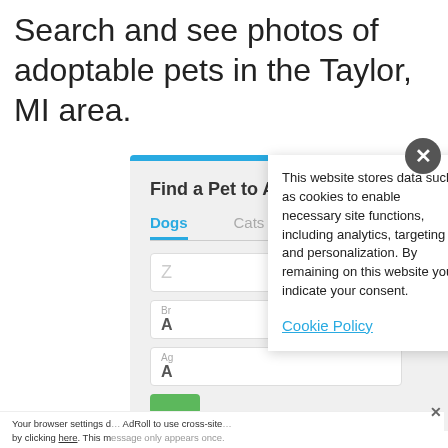Search and see photos of adoptable pets in the Taylor, MI area.
[Figure (screenshot): Pet adoption widget with blue top bar, title 'Find a Pet to Adopt', tabs for Dogs (active/selected), Cats, Others, and partially visible form fields for ZIP, Breed, and Age]
This website stores data such as cookies to enable necessary site functions, including analytics, targeting and personalization. By remaining on this website you indicate your consent.
Cookie Policy
Your browser settings d AdRoll to use cross-site by clicking here. This message only appears once.